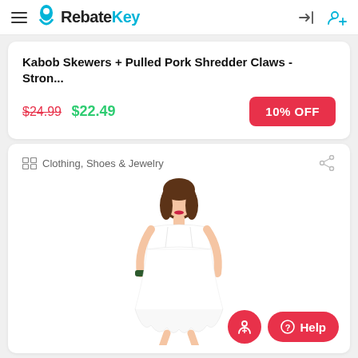RebateKey
Kabob Skewers + Pulled Pork Shredder Claws - Stron...
$24.99 $22.49
10% OFF
Clothing, Shoes & Jewelry
[Figure (photo): Woman wearing a white sleeveless dress with ruffled hem, dark hair, standing against white background]